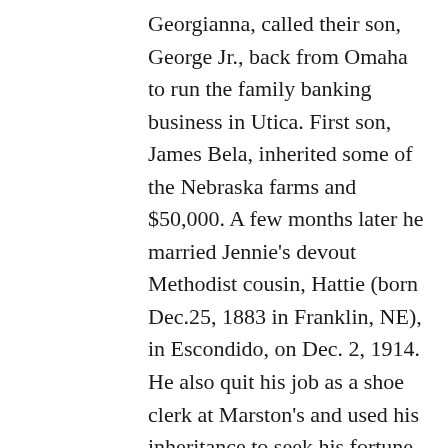Georgianna, called their son, George Jr., back from Omaha to run the family banking business in Utica. First son, James Bela, inherited some of the Nebraska farms and $50,000. A few months later he married Jennie's devout Methodist cousin, Hattie (born Dec.25, 1883 in Franklin, NE), in Escondido, on Dec. 2, 1914. He also quit his job as a shoe clerk at Marston's and used his inheritance to seek his fortune in real estate. Mrs. Richmond wrote this glowing article for the Utica Sun about a 1915 trip to San Diego to see the Liggetts.